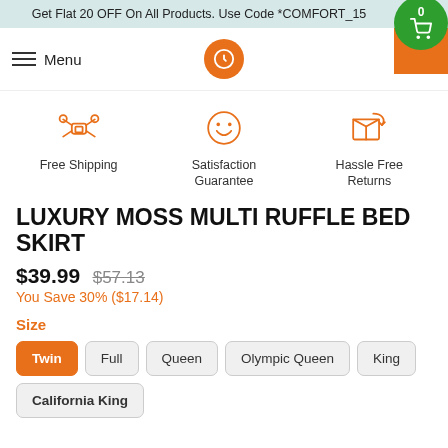Get Flat 20 OFF On All Products. Use Code *COMFORT_15
[Figure (screenshot): Navigation bar with hamburger menu icon, Menu text, orange circular logo with shopping bag icon, orange search icon, and green cart circle with 0 count]
[Figure (infographic): Three feature icons in orange: drone/free shipping icon, smiley face satisfaction guarantee icon, and return box hassle free returns icon with labels below each]
LUXURY MOSS MULTI RUFFLE BED SKIRT
$39.99 $57.13
You Save 30% ($17.14)
Size
Twin (selected), Full, Queen, Olympic Queen, King, California King